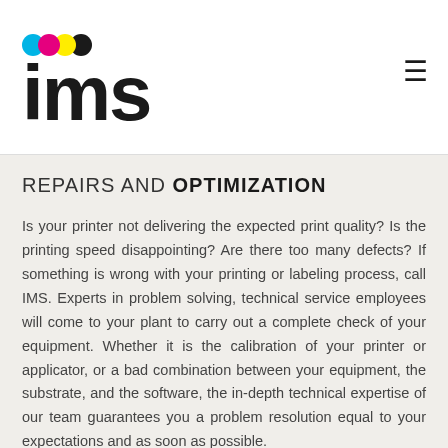[Figure (logo): IMS logo with cyan, magenta, yellow, black overlapping circles and bold lowercase 'ims' text, plus a hamburger menu icon on the right]
REPAIRS AND OPTIMIZATION
Is your printer not delivering the expected print quality? Is the printing speed disappointing? Are there too many defects? If something is wrong with your printing or labeling process, call IMS. Experts in problem solving, technical service employees will come to your plant to carry out a complete check of your equipment. Whether it is the calibration of your printer or applicator, or a bad combination between your equipment, the substrate, and the software, the in-depth technical expertise of our team guarantees you a problem resolution equal to your expectations and as soon as possible.